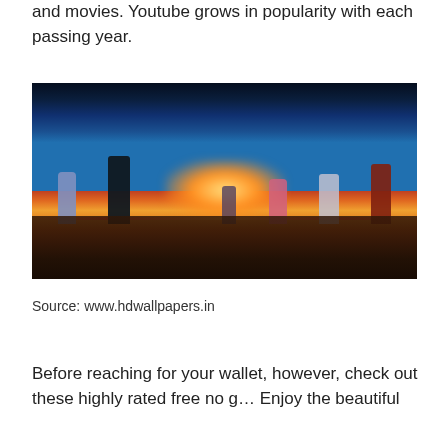and movies. Youtube grows in popularity with each passing year.
[Figure (illustration): Anime-style illustration showing a group of characters standing on a reflective surface under a dramatic twilight sky with glowing sunset and clouds. Characters include figures in fantasy armor and clothing. The scene has a wide cinematic composition with a bright central glow on the horizon.]
Source: www.hdwallpapers.in
Before reaching for your wallet, however, check out these highly rated free no g… Enjoy the beautiful